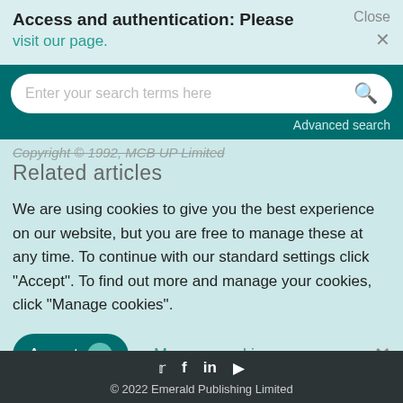Access and authentication: Please visit our page.   Close ×
[Figure (screenshot): Search bar with placeholder text 'Enter your search terms here' and a magnifying glass icon, on a dark teal background. 'Advanced search' link at bottom right.]
Copyright © 1992, MCB UP Limited
Related articles
We are using cookies to give you the best experience on our website, but you are free to manage these at any time. To continue with our standard settings click "Accept". To find out more and manage your cookies, click "Manage cookies".
Accept   Manage cookies   ×
© 2022 Emerald Publishing Limited